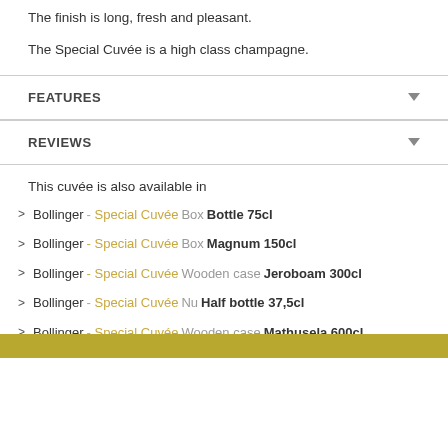The finish is long, fresh and pleasant.
The Special Cuvée is a high class champagne.
FEATURES
REVIEWS
This cuvée is also available in
> Bollinger - Special Cuvée Box Bottle 75cl
> Bollinger - Special Cuvée Box Magnum 150cl
> Bollinger - Special Cuvée Wooden case Jeroboam 300cl
> Bollinger - Special Cuvée Nu Half bottle 37,5cl
> Bollinger - Special Cuvée Wooden case Mathusela 600cl